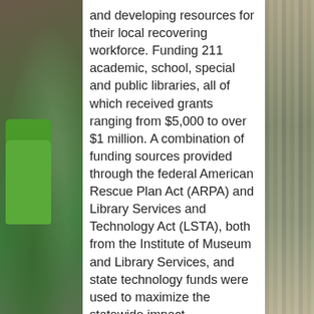[Figure (photo): Left side photo of library interior with green chair and bookshelves]
and developing resources for their local recovering workforce. Funding 211 academic, school, special and public libraries, all of which received grants ranging from $5,000 to over $1 million. A combination of funding sources provided through the federal American Rescue Plan Act (ARPA) and Library Services and Technology Act (LSTA), both from the Institute of Museum and Library Services, and state technology funds were used to maximize the statewide impact.
SMRLD is the proud recipient of $50,000 of funding from the Illinois State Library's (ISL) Bouncing Back from the Pandemic grant. As a part of our project, Building a Job Ready Workforce, expert, Frank Alantz will be presenting a series of job search training sessions.
Registration Required
June 1, 2022 1:30 – 2:30 Job Searching: Where
[Figure (photo): Right side photo of library bookshelves with colorful book spines]